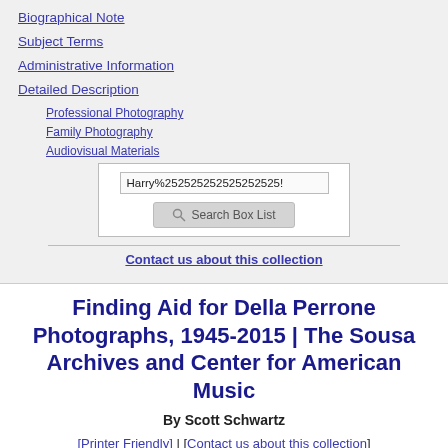Biographical Note
Subject Terms
Administrative Information
Detailed Description
Professional Photography
Family Photography
Audiovisual Materials
[Figure (screenshot): Search box with text input containing 'Harry%252525252525252525!' and a Search Box List button]
Contact us about this collection
Finding Aid for Della Perrone Photographs, 1945-2015 | The Sousa Archives and Center for American Music
By Scott Schwartz
[Printer Friendly] | [Contact us about this collection]
Collection Summary